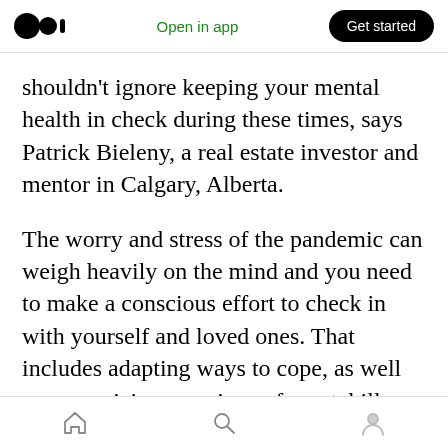Open in app | Get started
shouldn't ignore keeping your mental health in check during these times, says Patrick Bieleny, a real estate investor and mentor in Calgary, Alberta.
The worry and stress of the pandemic can weigh heavily on the mind and you need to make a conscious effort to check in with yourself and loved ones. That includes adapting ways to cope, as well as recognizing any signs of mental illness and taking action.
Unplug from the News Cycle
Home | Search | Profile